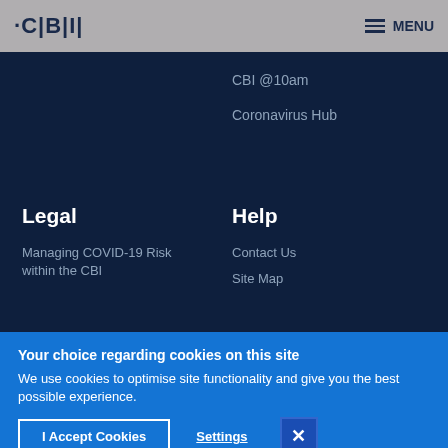CBI | MENU
CBI @10am
Coronavirus Hub
Legal
Help
Managing COVID-19 Risk within the CBI
Contact Us
Site Map
Your choice regarding cookies on this site
We use cookies to optimise site functionality and give you the best possible experience.
I Accept Cookies | Settings | X